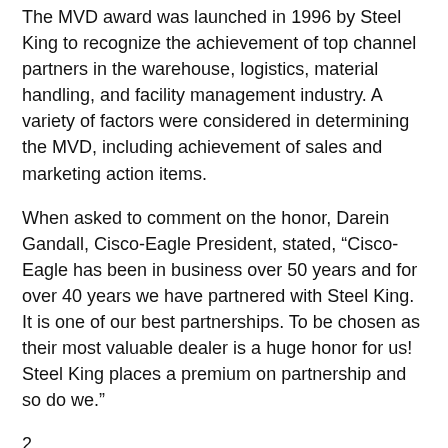The MVD award was launched in 1996 by Steel King to recognize the achievement of top channel partners in the warehouse, logistics, material handling, and facility management industry. A variety of factors were considered in determining the MVD, including achievement of sales and marketing action items.
When asked to comment on the honor, Darein Gandall, Cisco-Eagle President, stated, “Cisco-Eagle has been in business over 50 years and for over 40 years we have partnered with Steel King. It is one of our best partnerships. To be chosen as their most valuable dealer is a huge honor for us! Steel King places a premium on partnership and so do we.”
2
Don Heemstra, Steel King VP Sales added, “We congratulate Cisco-Eagle on achieving Most Valuable Dealer status for 2020, the seventh time they have